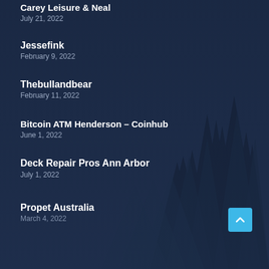Carey Leisure & Neal
July 21, 2022
Jessefink
February 9, 2022
Thebullandbear
February 11, 2022
Bitcoin ATM Henderson – Coinhub
June 1, 2022
Deck Repair Pros Ann Arbor
July 1, 2022
Propet Australia
March 4, 2022